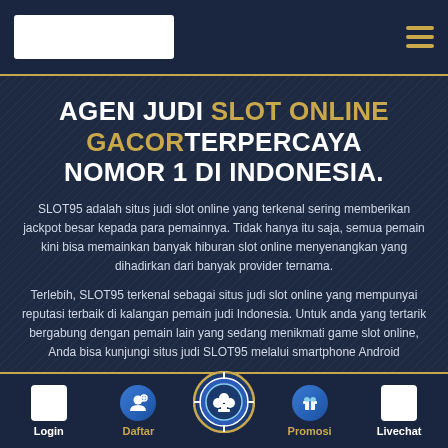[Figure (screenshot): Website header with white logo box on left and gold hamburger menu icon on right, on dark navy background]
AGEN JUDI SLOT ONLINE GACORTERPERCAYA NOMOR 1 DI INDONESIA.
SLOT95 adalah situs judi slot online yang terkenal sering memberikan jackpot besar kepada para pemainnya. Tidak hanya itu saja, semua pemain kini bisa memainkan banyak hiburan slot online menyenangkan yang dihadirkan dari banyak provider ternama.
Terlebih, SLOT95 terkenal sebagai situs judi slot online yang mempunyai reputasi terbaik di kalangan pemain judi Indonesia. Untuk anda yang tertarik bergabung dengan pemain lain yang sedang menikmati game slot online, Anda bisa kunjungi situs judi SLOT95 melalui smartphone Android
[Figure (screenshot): Bottom navigation bar with Login (white box), Daftar (blue user icon), center chip icon, Promosi (blue gift icon), Livechat (white box) buttons]